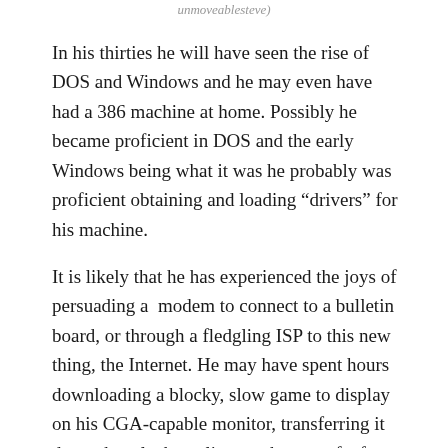unmoveablesteve)
In his thirties he will have seen the rise of DOS and Windows and he may even have had a 386 machine at home. Possibly he became proficient in DOS and the early Windows being what it was he probably was proficient obtaining and loading “drivers” for his machine.
It is likely that he has experienced the joys of persuading a  modem to connect to a bulletin board, or through a fledgling ISP to this new thing, the Internet. He may have spent hours downloading a blocky, slow game to display on his CGA-capable monitor, transferring it down the telephone lines at the rate of a few bytes a